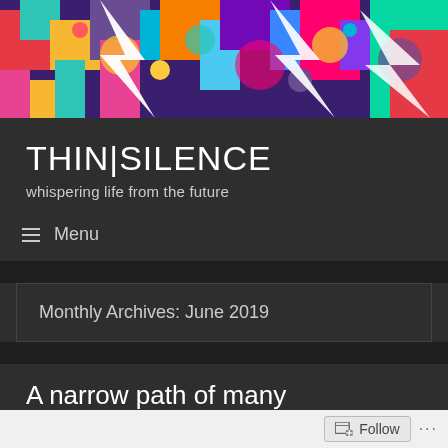[Figure (illustration): Colorful abstract psychedelic art banner with white lightning bolt shapes and vivid multicolored patterns on dark background]
THIN|SILENCE
whispering life from the future
≡ Menu
Monthly Archives: June 2019
A narrow path of many possibilities